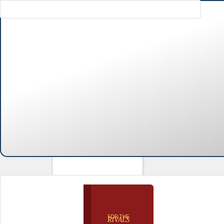[Figure (screenshot): Left white card panel (partial, mostly blank white area)]
[Figure (screenshot): Facebook Like and Share widget with count '0', blue Like button and blue Share button]
[Figure (screenshot): Top right card with gradient background and dark border, partially visible]
[Figure (photo): Rivals for CATAN Card Game box image - red box with gold CATAN text]
Rivals for CATAN Card Game for 2 Players Deluxe Editi...
$29.49  $37.00  ✓prime
★★★★★ (691)